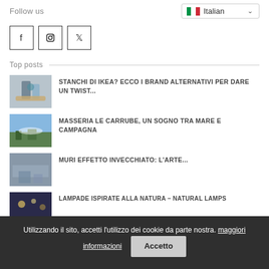Follow us
[Figure (screenshot): Language selector dropdown showing Italian flag and text 'Italian' with chevron]
[Figure (infographic): Three social media icon buttons: Facebook (f), Instagram (camera), Pinterest (P)]
Top posts
[Figure (photo): Thumbnail image for 'Stanchi di Ikea' post - decorative items on table]
STANCHI DI IKEA? ECCO I BRAND ALTERNATIVI PER DARE UN TWIST...
[Figure (photo): Thumbnail image for 'Masseria Le Carrube' post - countryside with sky]
MASSERIA LE CARRUBE, UN SOGNO TRA MARE E CAMPAGNA
[Figure (photo): Thumbnail image for 'Muri Effetto Invecchiato' post - aged wall texture]
MURI EFFETTO INVECCHIATO: L'ARTE...
[Figure (photo): Thumbnail image for 'Lampade Ispirate' post - dark image with lights]
LAMPADE ISPIRATE ALLA NATURA – NATURAL LAMPS
Utilizzando il sito, accetti l'utilizzo dei cookie da parte nostra. maggiori informazioni
Accetto